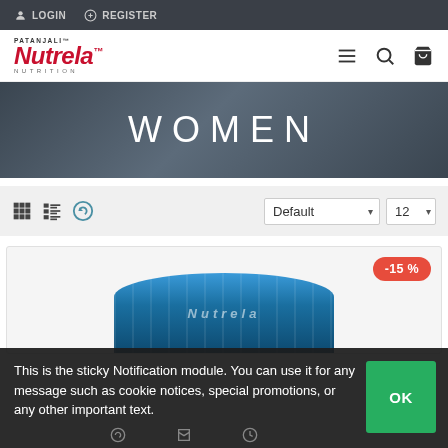LOGIN   REGISTER
[Figure (logo): Patanjali Nutrela Nutrition logo with red italic text]
WOMEN
Default  12
[Figure (photo): Product card with -15% discount badge and blue Nutrela product image]
This is the sticky Notification module. You can use it for any message such as cookie notices, special promotions, or any other important text.